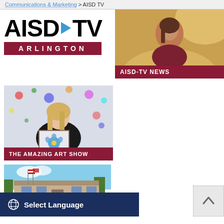Communications & Marketing > AISD TV
[Figure (logo): AISD-TV Arlington logo with blue play arrow and dark red bar]
[Figure (photo): AISD-TV News - woman smiling, portrait photo with golden/warm background, labeled AISD-TV NEWS]
[Figure (photo): The Amazing Art Show - woman holding painting in front of colorful artwork background, labeled THE AMAZING ART SHOW]
[Figure (photo): School building exterior photo with American flags]
Select Language
[Figure (other): Back to top button with chevron arrow]